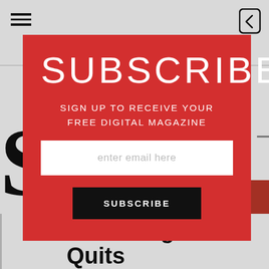[Figure (screenshot): Mobile app screenshot showing a subscription modal overlay on top of a magazine article page. Hamburger menu icon top left, back arrow icon top right, partially visible magazine logo letter S on left, red accent on right. Bottom shows article headline text.]
SUBSCRIBE
SIGN UP TO RECEIVE YOUR FREE DIGITAL MAGAZINE
enter email here
SUBSCRIBE
Marketing Exec Quits